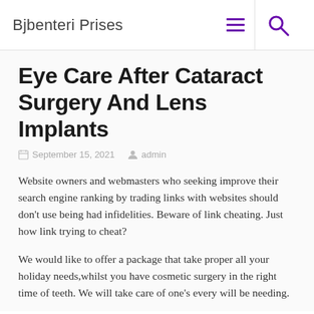Bjbenteri Prises
Eye Care After Cataract Surgery And Lens Implants
September 15, 2021   admin
Website owners and webmasters who seeking improve their search engine ranking by trading links with websites should don't use being had infidelities. Beware of link cheating. Just how link trying to cheat?
We would like to offer a package that take proper all your holiday needs,whilst you have cosmetic surgery in the right time of teeth. We will take care of one's every will be needing.